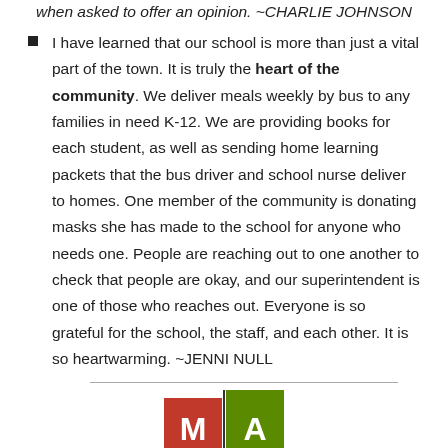when asked to offer an opinion. ~CHARLIE JOHNSON
I have learned that our school is more than just a vital part of the town. It is truly the heart of the community. We deliver meals weekly by bus to any families in need K-12. We are providing books for each student, as well as sending home learning packets that the bus driver and school nurse deliver to homes. One member of the community is donating masks she has made to the school for anyone who needs one. People are reaching out to one another to check that people are okay, and our superintendent is one of those who reaches out. Everyone is so grateful for the school, the staff, and each other. It is so heartwarming. ~JENNI NULL
[Figure (logo): MA logo with red M block and green A block with vertical line divider]